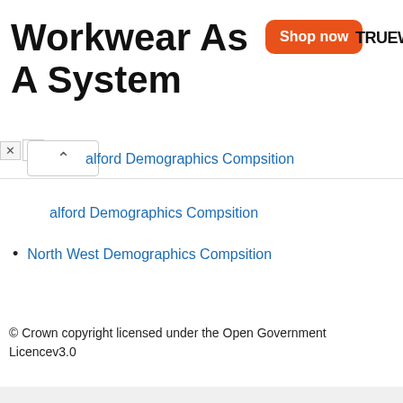[Figure (screenshot): Advertisement banner for Truewerk workwear with orange 'Shop now' button and bold title 'Workwear As A System']
Salford Demographics Compsition
North West Demographics Compsition
© Crown copyright licensed under the Open Government Licencev3.0
Home | Categories | Privacy Policy | Contact | Log in
[Figure (infographic): Social media sharing bar with Facebook, Twitter, WhatsApp, LinkedIn, and Pinterest icons]